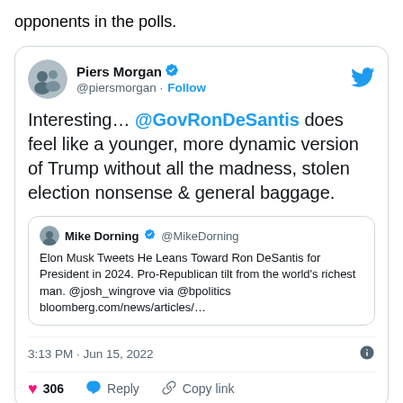opponents in the polls.
[Figure (screenshot): Embedded tweet from Piers Morgan (@piersmorgan) with verified badge and Follow button. Tweet text: 'Interesting... @GovRonDeSantis does feel like a younger, more dynamic version of Trump without all the madness, stolen election nonsense & general baggage.' Quoted tweet from Mike Dorning (@MikeDorning): 'Elon Musk Tweets He Leans Toward Ron DeSantis for President in 2024. Pro-Republican tilt from the world's richest man. @josh_wingrove via @bpolitics bloomberg.com/news/articles/...' Timestamp: 3:13 PM · Jun 15, 2022. Actions: 306 likes, Reply, Copy link.]